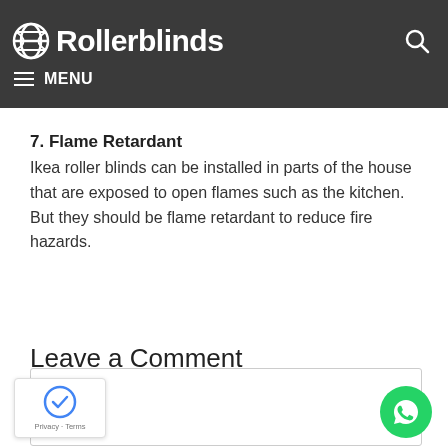Rollerblinds — MENU
7. Flame Retardant
Ikea roller blinds can be installed in parts of the house that are exposed to open flames such as the kitchen. But they should be flame retardant to reduce fire hazards.
Leave a Comment